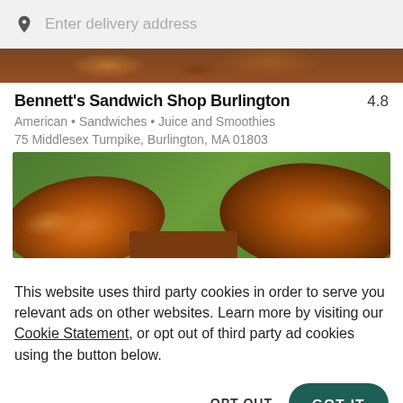Enter delivery address
Bennett's Sandwich Shop Burlington  4.8
American • Sandwiches • Juice and Smoothies
75 Middlesex Turnpike, Burlington, MA 01803
[Figure (photo): Photo of sandwich buns on a green background]
This website uses third party cookies in order to serve you relevant ads on other websites. Learn more by visiting our Cookie Statement, or opt out of third party ad cookies using the button below.
OPT OUT
GOT IT